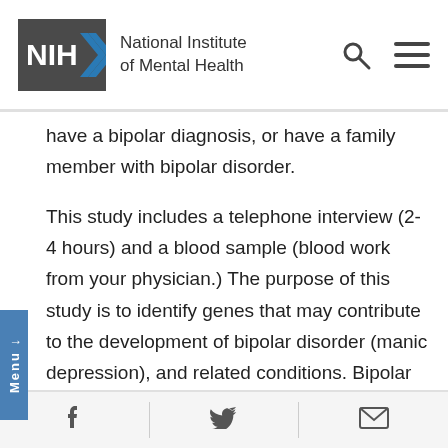NIH National Institute of Mental Health
have a bipolar diagnosis, or have a family member with bipolar disorder.
This study includes a telephone interview (2-4 hours) and a blood sample (blood work from your physician.) The purpose of this study is to identify genes that may contribute to the development of bipolar disorder (manic depression), and related conditions. Bipolar disorder is a common and potentially life-threatening mood disorder. The tendency to develop bipolar disorder can be inherited, but this is poorly understood and probably involves multiple genes.
f  twitter  email